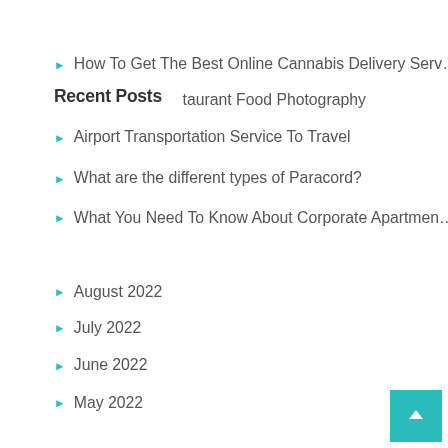How To Get The Best Online Cannabis Delivery Serv…
Recent Posts
Tips on Restaurant Food Photography
Airport Transportation Service To Travel
What are the different types of Paracord?
What You Need To Know About Corporate Apartmen…
August 2022
July 2022
June 2022
May 2022